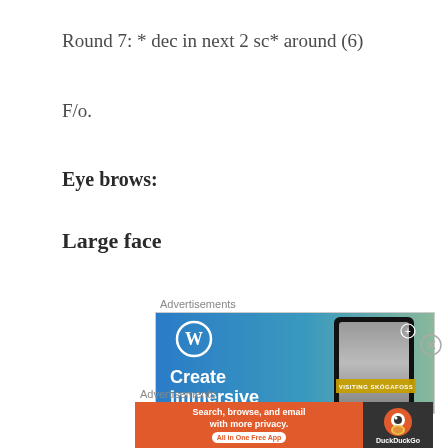Round 7: * dec in next 2 sc* around (6)
F/o.
Eye brows:
Large face
[Figure (other): WordPress advertisement showing blue gradient background with WordPress logo, 'Create immersive' text, and phone showing waterfall photo with 'VISITING SKÓGAFOSS' label]
[Figure (other): DuckDuckGo advertisement on orange background saying 'Search, browse, and email with more privacy. All in One Free App' with DuckDuckGo logo on dark background]